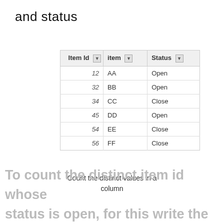and status
| Item Id | item | Status |
| --- | --- | --- |
| 12 | AA | Open |
| 32 | BB | Open |
| 34 | CC | Close |
| 45 | DD | Open |
| 54 | EE | Close |
| 56 | FF | Close |
Count the distinct values in a column
To count the distinct item id whose status is open, for this write the